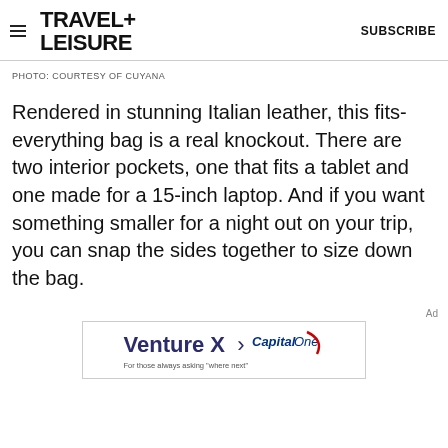TRAVEL+ LEISURE | SUBSCRIBE
PHOTO: COURTESY OF CUYANA
Rendered in stunning Italian leather, this fits-everything bag is a real knockout. There are two interior pockets, one that fits a tablet and one made for a 15-inch laptop. And if you want something smaller for a night out on your trip, you can snap the sides together to size down the bag.
[Figure (other): Capital One Venture X advertisement banner with text 'Venture X > CapitalOne For those always asking where next']